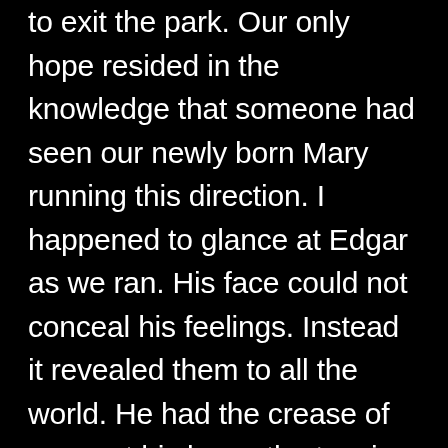to exit the park. Our only hope resided in the knowledge that someone had seen our newly born Mary running this direction. I happened to glance at Edgar as we ran. His face could not conceal his feelings. Instead it revealed them to all the world. He had the crease of worry at his brow, the tension of determination at his eyes, and the clenched teeth of a man who does the majority of his work at a desk. I